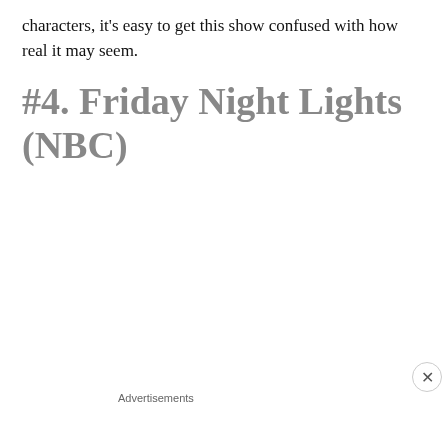characters, it's easy to get this show confused with how real it may seem.
#4. Friday Night Lights (NBC)
[Figure (other): Play Your Way Network Top 5 List — Television Dramatic Series promotional banner with people in background]
Advertisements
[Figure (other): DuckDuckGo advertisement: Search, browse, and email with more privacy. All in One Free App. Shows phone with DuckDuckGo logo.]